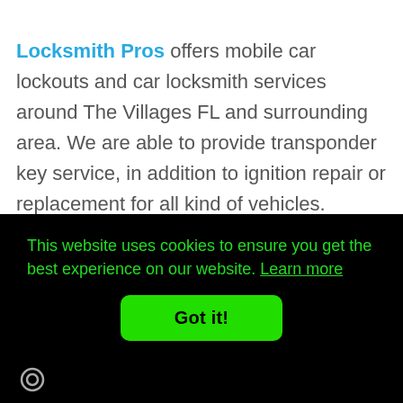Locksmith Pros offers mobile car lockouts and car locksmith services around The Villages FL and surrounding area. We are able to provide transponder key service, in addition to ignition repair or replacement for all kind of vehicles. Thanks to our high tech locksmith equipment and advanced machinery we can work on all kind of vehicles, whether it's a domestic or
This website uses cookies to ensure you get the best experience on our website. Learn more
Got it!